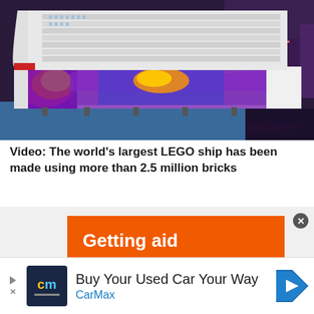[Figure (photo): A large cruise ship model made of LEGO bricks displayed on a blue floor. The ship is white on top with colorful artwork on the hull including purple, yellow, and orange designs. City lights visible in background.]
Video: The world's largest LEGO ship has been made using more than 2.5 million bricks
[Figure (infographic): Orange advertisement banner with white bold text reading 'Getting aid through the lines in Ukraine.']
[Figure (infographic): CarMax advertisement banner at bottom. Dark blue logo box with 'cm' text in yellow and blue. Text reads 'Buy Your Used Car Your Way' with 'CarMax' in blue below. Navigation arrow icon on right.]